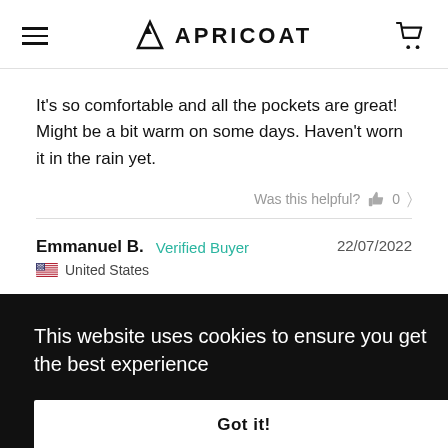APRICOAT
It's so comfortable and all the pockets are great! Might be a bit warm on some days. Haven't worn it in the rain yet.
Was this helpful? 0
Emmanuel B.   Verified Buyer   22/07/2022
United States
This website uses cookies to ensure you get the best experience
Got it!